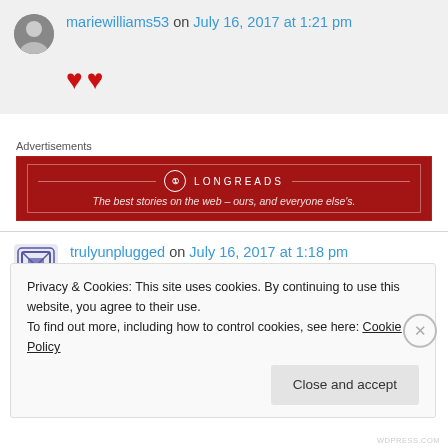mariewilliams53 on July 16, 2017 at 1:21 pm
♥♥
Advertisements
[Figure (other): Longreads advertisement banner: red background with logo and tagline 'The best stories on the web – ours, and everyone else's.']
trulyunplugged on July 16, 2017 at 1:18 pm
Privacy & Cookies: This site uses cookies. By continuing to use this website, you agree to their use. To find out more, including how to control cookies, see here: Cookie Policy
Close and accept